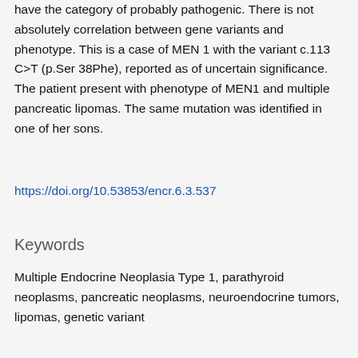have the category of probably pathogenic. There is not absolutely correlation between gene variants and phenotype. This is a case of MEN 1 with the variant c.113 C>T (p.Ser 38Phe), reported as of uncertain significance. The patient present with phenotype of MEN1 and multiple pancreatic lipomas. The same mutation was identified in one of her sons.
https://doi.org/10.53853/encr.6.3.537
Keywords
Multiple Endocrine Neoplasia Type 1, parathyroid neoplasms, pancreatic neoplasms, neuroendocrine tumors, lipomas, genetic variant